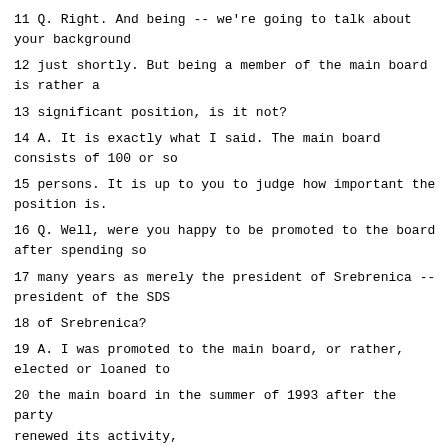11 Q. Right. And being -- we're going to talk about your background
12 just shortly. But being a member of the main board is rather a
13 significant position, is it not?
14 A. It is exactly what I said. The main board consists of 100 or so
15 persons. It is up to you to judge how important the position is.
16 Q. Well, were you happy to be promoted to the board after spending so
17 many years as merely the president of Srebrenica -- president of the SDS
18 of Srebrenica?
19 A. I was promoted to the main board, or rather, elected or loaned to
20 the main board in the summer of 1993 after the party renewed its activity,
21 after a one-year break. And since the member of the board from that area